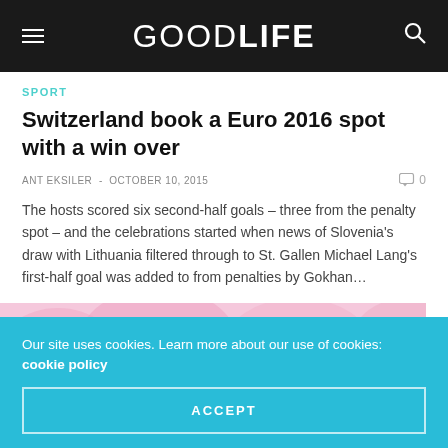GOODLIFE
SPORT
Switzerland book a Euro 2016 spot with a win over
ANT EKSILER  -  OCTOBER 10, 2015
The hosts scored six second-half goals – three from the penalty spot – and the celebrations started when news of Slovenia's draw with Lithuania filtered through to St. Gallen Michael Lang's first-half goal was added to from penalties by Gokhan...
[Figure (illustration): Colorful cartoon/illustration with pink background featuring balloon-like shapes and a castle tower]
Our site uses cookies. Learn more about our use of cookies: cookie policy